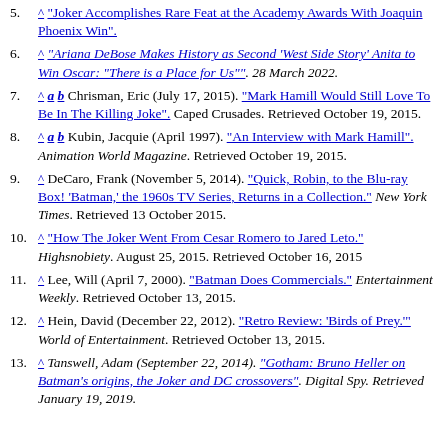5. ^ "Joker Accomplishes Rare Feat at the Academy Awards With Joaquin Phoenix Win".
6. ^ "Ariana DeBose Makes History as Second 'West Side Story' Anita to Win Oscar: 'There is a Place for Us'". 28 March 2022.
7. ^ a b Chrisman, Eric (July 17, 2015). "Mark Hamill Would Still Love To Be In The Killing Joke". Caped Crusades. Retrieved October 19, 2015.
8. ^ a b Kubin, Jacquie (April 1997). "An Interview with Mark Hamill". Animation World Magazine. Retrieved October 19, 2015.
9. ^ DeCaro, Frank (November 5, 2014). "Quick, Robin, to the Blu-ray Box! 'Batman,' the 1960s TV Series, Returns in a Collection." New York Times. Retrieved 13 October 2015.
10. ^ "How The Joker Went From Cesar Romero to Jared Leto." Highsnobiety. August 25, 2015. Retrieved October 16, 2015
11. ^ Lee, Will (April 7, 2000). "Batman Does Commercials." Entertainment Weekly. Retrieved October 13, 2015.
12. ^ Hein, David (December 22, 2012). "Retro Review: 'Birds of Prey.'" World of Entertainment. Retrieved October 13, 2015.
13. ^ Tanswell, Adam (September 22, 2014). "Gotham: Bruno Heller on Batman's origins, the Joker and DC crossovers". Digital Spy. Retrieved January 19, 2019.